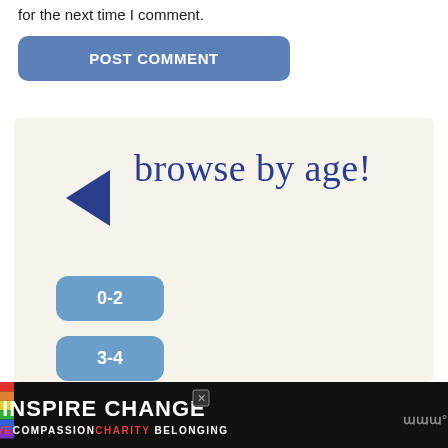for the next time I comment.
POST COMMENT
[Figure (illustration): Browse by age panel with a left-pointing arrow, handwritten script text 'browse by age!', and three age range buttons: 0-2, 3-4, 5+]
[Figure (infographic): Ad banner with black background, rainbow stripe, text 'INSPIRE CHANGE' with close button, and subtext 'LOVE COMPASSION CHARITY BELONGING']